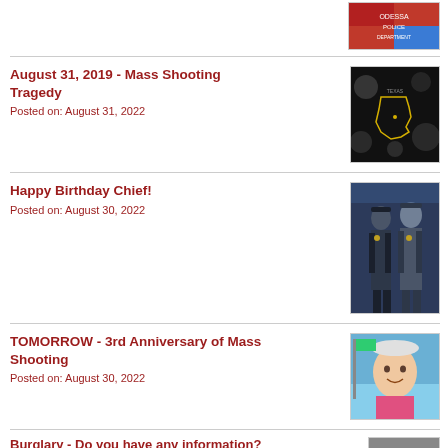[Figure (photo): Colorful badge/logo image at top right]
August 31, 2019 - Mass Shooting Tragedy
Posted on: August 31, 2022
[Figure (photo): Texas state outline on dark background with glowing effect]
Happy Birthday Chief!
Posted on: August 30, 2022
[Figure (photo): Two police officers in uniform standing together]
TOMORROW - 3rd Anniversary of Mass Shooting
Posted on: August 30, 2022
[Figure (photo): Young child smiling outdoors, wearing pink, with flag in background]
Burglary - Do you have any information?
Posted on: August 29, 2022
[Figure (photo): Dark silhouette of a person near a door or window, burglary scene]
Do you recognize this man?
Posted on: August 28, 2022
[Figure (photo): Person in pink top, partially visible]